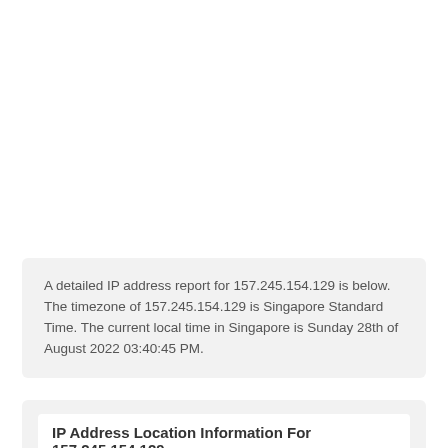A detailed IP address report for 157.245.154.129 is below. The timezone of 157.245.154.129 is Singapore Standard Time. The current local time in Singapore is Sunday 28th of August 2022 03:40:45 PM.
IP Address Location Information For 157.245.154.129